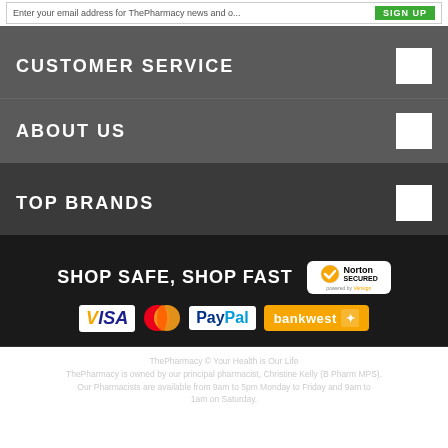Enter your email address for ThePharmacy news and offers
CUSTOMER SERVICE
ABOUT US
TOP BRANDS
SHOP SAFE, SHOP FAST
[Figure (logo): Norton Secured badge logo]
[Figure (logo): Payment logos: VISA, MasterCard, PayPal, Bankwest]
ThePharmacy © Your Health is Our Life
ThePharmacy is owned by our principal pharmacist, Christine Kelly (B Pharm MPS).
Our Pharmacists are available from 9am to 5pm Monday to Friday and 9am to 1am on Saturday.